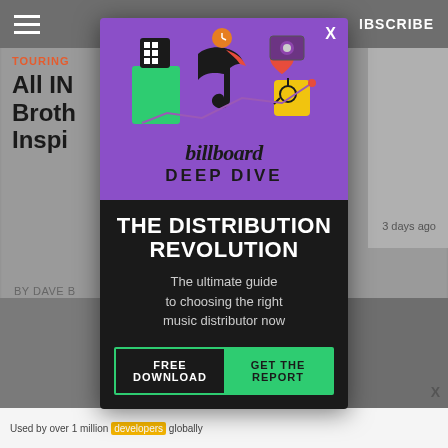SUBSCRIBE
TOURING
All IN... an Brothers ...m-Inspi...
BY DAVE B... 3 days ago
[Figure (advertisement): Billboard Deep Dive advertisement modal overlay. Purple top section with TikTok-themed illustration icons (speaker, heart, film camera, graph). Billboard logo in italic serif. 'DEEP DIVE' in bold uppercase. Black bottom section with 'THE DISTRIBUTION REVOLUTION' headline and subtitle 'The ultimate guide to choosing the right music distributor now'. CTA row with 'FREE DOWNLOAD' and 'GET THE REPORT' button in green.]
Used by over 1 million developers globally